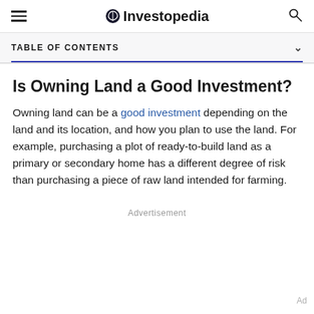Investopedia
TABLE OF CONTENTS
Is Owning Land a Good Investment?
Owning land can be a good investment depending on the land and its location, and how you plan to use the land. For example, purchasing a plot of ready-to-build land as a primary or secondary home has a different degree of risk than purchasing a piece of raw land intended for farming.
Advertisement
Ad